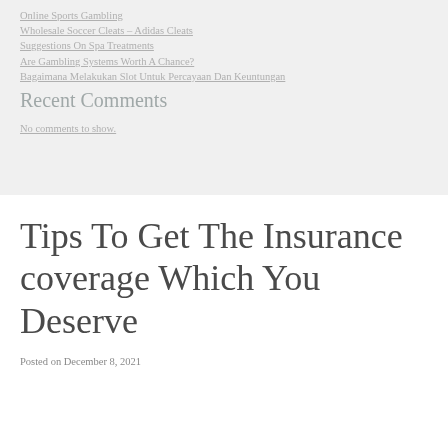Online Sports Gambling
Wholesale Soccer Cleats – Adidas Cleats
Suggestions On Spa Treatments
Are Gambling Systems Worth A Chance?
Bagaimana Melakukan Slot Untuk Percayaan Dan Keuntungan
Recent Comments
No comments to show.
Tips To Get The Insurance coverage Which You Deserve
Posted on December 8, 2021